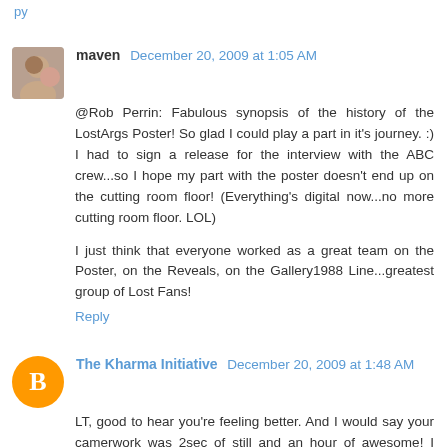Reply (partial link at top)
maven  December 20, 2009 at 1:05 AM
@Rob Perrin: Fabulous synopsis of the history of the LostArgs Poster! So glad I could play a part in it's journey. :) I had to sign a release for the interview with the ABC crew...so I hope my part with the poster doesn't end up on the cutting room floor! (Everything's digital now...no more cutting room floor. LOL)

I just think that everyone worked as a great team on the Poster, on the Reveals, on the Gallery1988 Line...greatest group of Lost Fans!
Reply
The Kharma Initiative  December 20, 2009 at 1:48 AM
LT, good to hear you're feeling better. And I would say your camerwork was 2sec of still and an hour of awesome! I think they call it cinema verite. MEL?